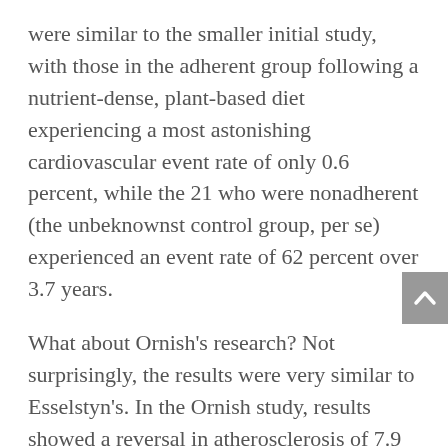were similar to the smaller initial study, with those in the adherent group following a nutrient-dense, plant-based diet experiencing a most astonishing cardiovascular event rate of only 0.6 percent, while the 21 who were nonadherent (the unbeknownst control group, per se) experienced an event rate of 62 percent over 3.7 years.
What about Ornish's research? Not surprisingly, the results were very similar to Esselstyn's. In the Ornish study, results showed a reversal in atherosclerosis of 7.9 percent in the treatment group compared to baseline, whereas those in the control arm over the same period showed a 27.7 percent increase in atherosclerosis or plaques in the arteries (8). Also, the control